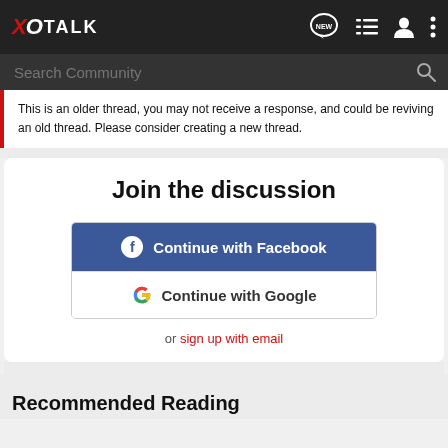XO TALK
This is an older thread, you may not receive a response, and could be reviving an old thread. Please consider creating a new thread.
Join the discussion
Continue with Facebook
Continue with Google
or sign up with email
Recommended Reading